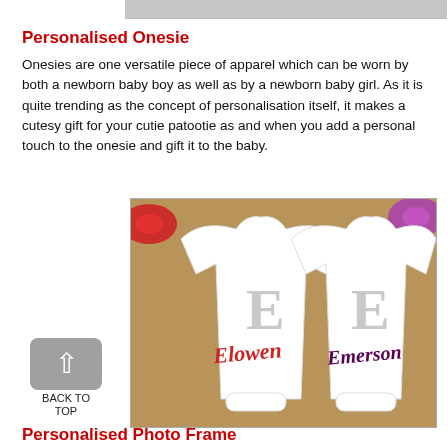[Figure (photo): Partial photo visible at top of page]
Personalised Onesie
Onesies are one versatile piece of apparel which can be worn by both a newborn baby boy as well as by a newborn baby girl. As it is quite trending as the concept of personalisation itself, it makes a cutesy gift for your cutie patootie as and when you add a personal touch to the onesie and gift it to the baby.
[Figure (photo): Two personalised white baby onesies with glitter E letters and cursive names Elowen and Emerson, with red and purple sequin bows]
Personalised Photo Frame